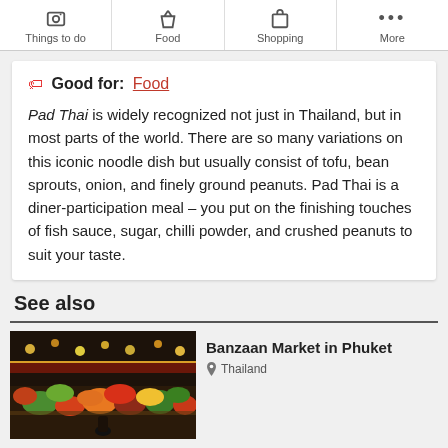Things to do | Food | Shopping | More
Good for: Food
Pad Thai is widely recognized not just in Thailand, but in most parts of the world. There are so many variations on this iconic noodle dish but usually consist of tofu, bean sprouts, onion, and finely ground peanuts. Pad Thai is a diner-participation meal – you put on the finishing touches of fish sauce, sugar, chilli powder, and crushed peanuts to suit your taste.
See also
[Figure (photo): Colorful market stall with fruits and vegetables at Banzaan Market in Phuket]
Banzaan Market in Phuket
Thailand